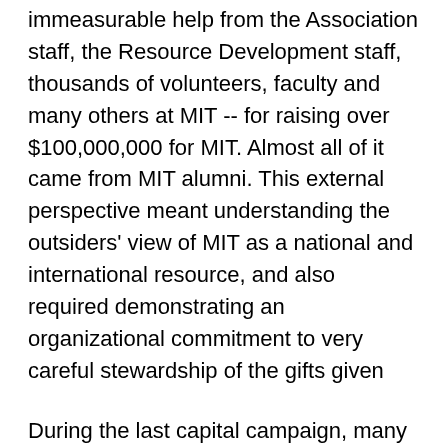immeasurable help from the Association staff, the Resource Development staff, thousands of volunteers, faculty and many others at MIT -- for raising over $100,000,000 for MIT. Almost all of it came from MIT alumni. This external perspective meant understanding the outsiders' view of MIT as a national and international resource, and also required demonstrating an organizational commitment to very careful stewardship of the gifts given
During the last capital campaign, many more alumni and corporate supporters asked how well MIT is managed. Potential donors wanted to know whether we are really up to the challenges ahead, and, if we have used the most modern methods to ensure not only efficiency but also effectiveness. Do we compare favorably with other universities as well as